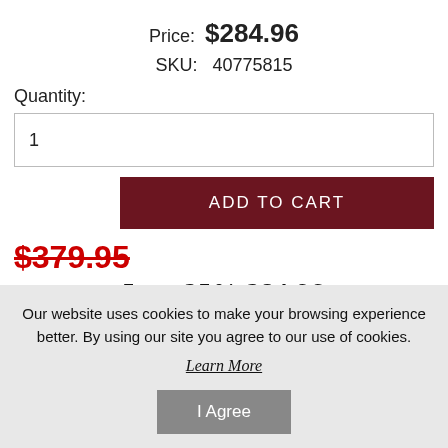Price: $284.96
SKU: 40775815
Quantity:
1
ADD TO CART
$379.95
Less 25% 284.96
Our website uses cookies to make your browsing experience better. By using our site you agree to our use of cookies. Learn More
I Agree